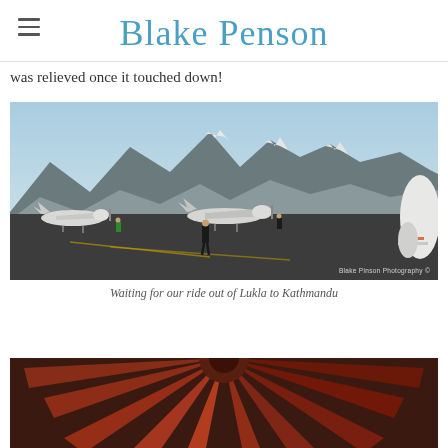Blake Penson
was relieved once it touched down!
[Figure (photo): Airport tarmac scene with small propeller aircraft parked, a person standing on the tarmac, and snow-capped mountains in the background. Watermark: Blake Pinson Photography ©]
Waiting for our ride out of Lukla to Kathmandu
[Figure (photo): Partial view of an aircraft interior or exterior with red/orange color tones, partially visible at the bottom of the page.]